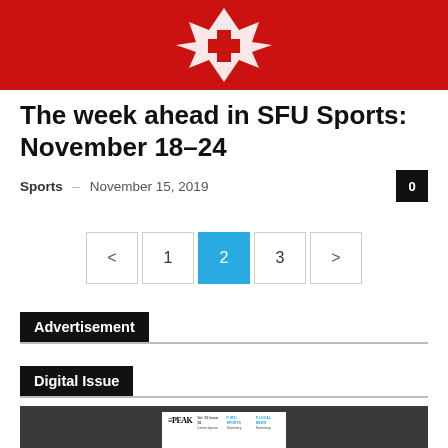[Figure (photo): Red banner with white maple leaf cross symbol - SFU sports header image]
The week ahead in SFU Sports: November 18–24
Sports · November 15, 2019
0 (comments badge)
Pagination: < 1 2 3 >
Advertisement
Digital Issue
[Figure (screenshot): The PEAK digital issue thumbnail preview on dark background]